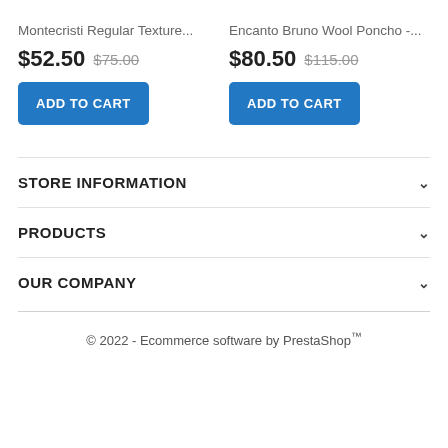Montecristi Regular Texture...
$52.50 $75.00
ADD TO CART
Encanto Bruno Wool Poncho -...
$80.50 $115.00
ADD TO CART
STORE INFORMATION
PRODUCTS
OUR COMPANY
© 2022 - Ecommerce software by PrestaShop™